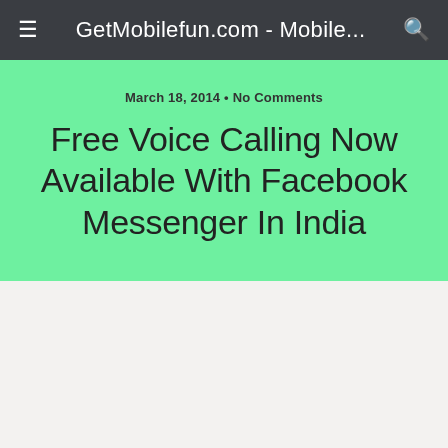GetMobilefun.com - Mobile...
March 18, 2014 • No Comments
Free Voice Calling Now Available With Facebook Messenger In India